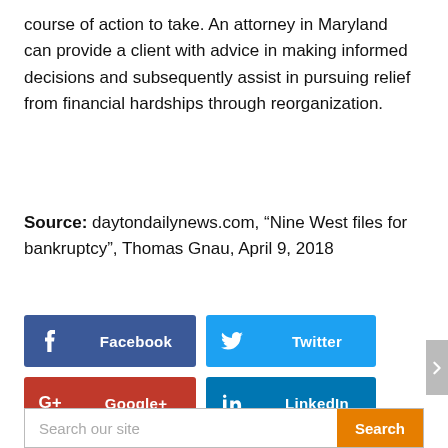course of action to take. An attorney in Maryland can provide a client with advice in making informed decisions and subsequently assist in pursuing relief from financial hardships through reorganization.
Source: daytondailynews.com, “Nine West files for bankruptcy”, Thomas Gnau, April 9, 2018
[Figure (other): Social media share buttons: Facebook (dark blue), Twitter (light blue), Google+ (red), LinkedIn (blue)]
Search our site